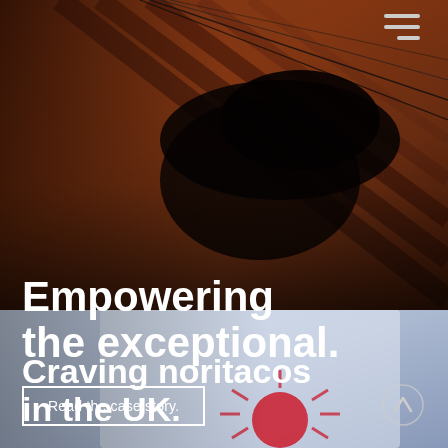[Figure (photo): Dark silhouette of a person's hands over a wooden surface, warm reddish-brown tones, with diagonal lines (wires or strings) in the background. Menu icon (hamburger) visible in top right corner.]
Empowering the exceptional.
Read the case story.
[Figure (photo): Close-up of a person wearing a white t-shirt with a Japanese rising sun graphic, light blue toned background.]
Craving noritacos in the UK.